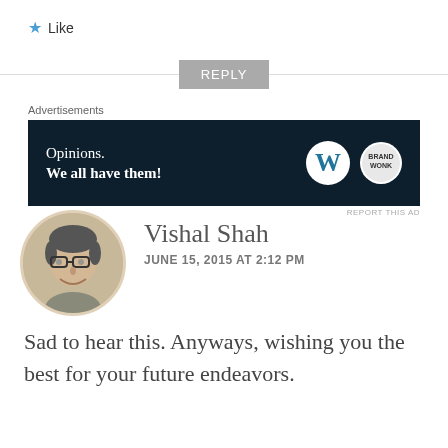★ Like
REPLY
Advertisements
[Figure (other): Advertisement banner with dark navy background. Left side shows text 'Opinions. We all have them!' with WordPress logo (W) and another circular logo on the right.]
REPORT THIS AD
[Figure (photo): Circular avatar photo of a man with glasses, smiling, wearing a casual shirt. Background is beige/tan colored.]
Vishal Shah
JUNE 15, 2015 AT 2:12 PM
Sad to hear this. Anyways, wishing you the best for your future endeavors.